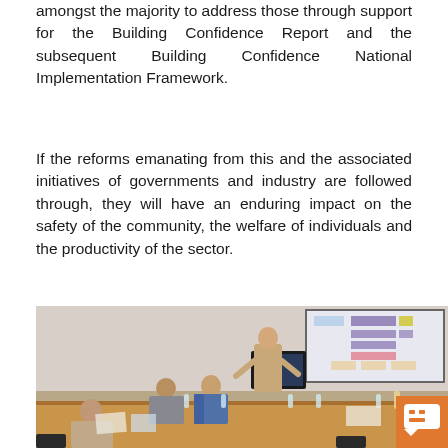amongst the majority to address those through support for the Building Confidence Report and the subsequent Building Confidence National Implementation Framework.
If the reforms emanating from this and the associated initiatives of governments and industry are followed through, they will have an enduring impact on the safety of the community, the welfare of individuals and the productivity of the sector.
[Figure (photo): A meeting room scene showing several people seated around a large wooden conference table. A man in a beige suit stands at the head of the table presenting. A projected screen on the wall shows a diagram with colored blocks. Bottles of water and papers are on the table. A chat icon overlay appears in the bottom right corner.]